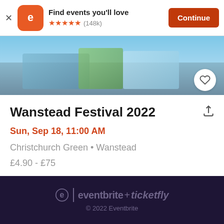[Figure (screenshot): Eventbrite app install banner with orange logo, 'Find events you'll love' text, 5 stars (148k reviews), and Continue button]
[Figure (photo): Festival photo showing people outdoors with colourful gear and blue sky]
Wanstead Festival 2022
Sun, Sep 18, 11:00 AM
Christchurch Green • Wanstead
£4.90 - £75
eventbrite + ticketfly
© 2022 Eventbrite